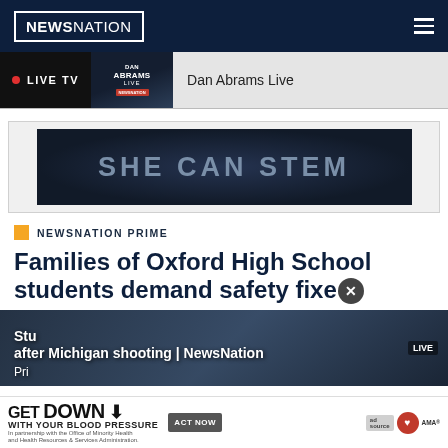NewsNation
[Figure (screenshot): Live TV bar showing Dan Abrams Live program with red live dot indicator and thumbnail]
[Figure (advertisement): SHE CAN STEM advertisement banner with dark blue background]
NEWSNATION PRIME
Families of Oxford High School students demand safety fixes
[Figure (screenshot): Video thumbnail showing students after Michigan shooting, NewsNation Prime]
[Figure (advertisement): GET DOWN WITH YOUR BLOOD PRESSURE advertisement with ACT NOW button and health organization logos]